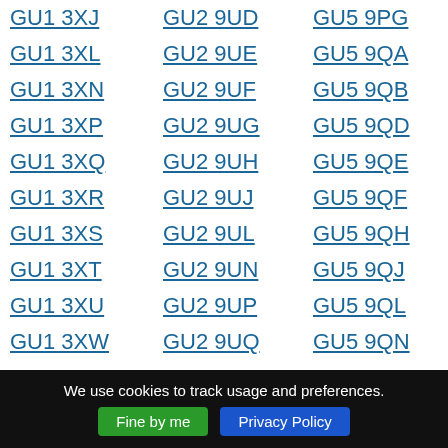GU1 3XJ
GU2 9UD
GU5 9PG
GU1 3XL
GU2 9UE
GU5 9QA
GU1 3XN
GU2 9UF
GU5 9QB
GU1 3XP
GU2 9UG
GU5 9QD
GU1 3XQ
GU2 9UH
GU5 9QE
GU1 3XR
GU2 9UJ
GU5 9QF
GU1 3XS
GU2 9UL
GU5 9QH
GU1 3XT
GU2 9UN
GU5 9QJ
GU1 3XU
GU2 9UP
GU5 9QL
GU1 3XW
GU2 9UQ
GU5 9QN
GU1 3XX
GU2 9UR
GU5 9QQ
GU1 3XY
GU2 9UT
GU5 9QR
We use cookies to track usage and preferences. Fine by me  Privacy Policy